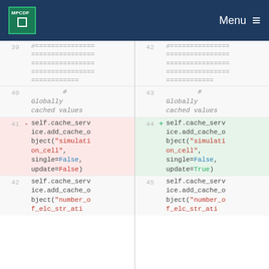MPCDF | Menu
Code diff showing lines 39-45 on left and 42-45 on right. Left side shows deleted line 41 with update=False, right side shows added line 44 with update=True. Both sides show self.cache_service.add_cache_object calls with simulation_cell and number_o... strings. Lines include commented separator blocks and '# Globally cached values' comments.